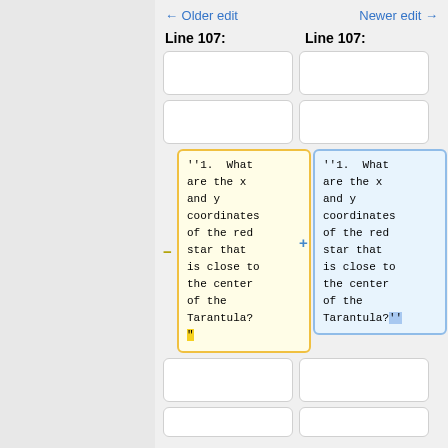← Older edit    Newer edit →
Line 107:    Line 107:
[Figure (screenshot): Wiki diff view showing two columns. Left column (old) has a yellow-bordered box with monospace text: ''1.  What are the x and y coordinates of the red star that is close to the center of the Tarantula?" with a yellow-highlighted trailing quote. Right column (new) has a blue-bordered box with monospace text: ''1.  What are the x and y coordinates of the red star that is close to the center of the Tarantula?'' with blue-highlighted trailing quotes. A minus marker appears left of the old box and a plus marker left of the new box. Empty rounded boxes appear above and below the diff boxes in both columns.]